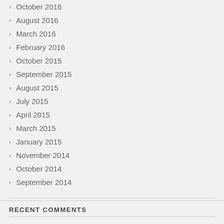October 2016
August 2016
March 2016
February 2016
October 2015
September 2015
August 2015
July 2015
April 2015
March 2015
January 2015
November 2014
October 2014
September 2014
RECENT COMMENTS